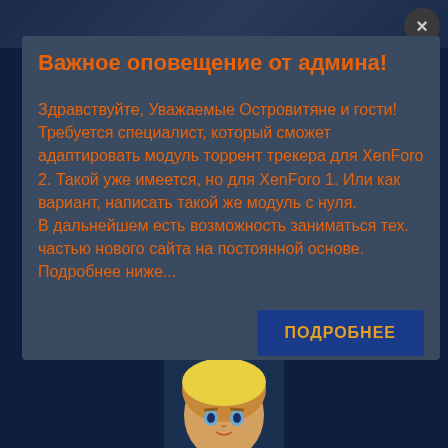Важное оповещение от админа!
Здравствуйте, Уважаемые Островитяне и гости! Требуется специалист, который сможет адаптировать модуль торрент трекера для XenForo 2. Такой уже имеется, но для XenForo 1. Или как вариант, написать такой же модуль с нуля.
В дальнейшем есть возможность заниматься тех. частью нового сайта на постоянной основе. Подробнее ниже...
ПОДРОБНЕЕ